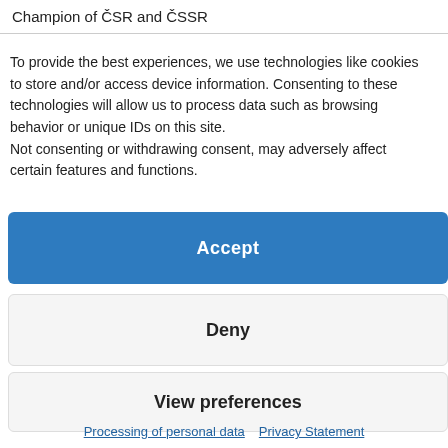Champion of ČSR and ČSSR
To provide the best experiences, we use technologies like cookies to store and/or access device information. Consenting to these technologies will allow us to process data such as browsing behavior or unique IDs on this site.
Not consenting or withdrawing consent, may adversely affect certain features and functions.
Accept
Deny
View preferences
Processing of personal data   Privacy Statement